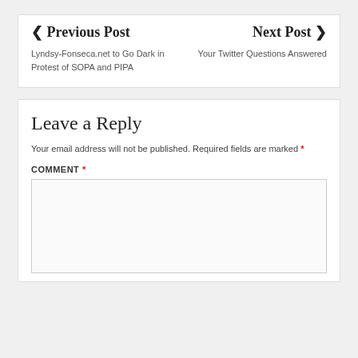◀ Previous Post
Lyndsy-Fonseca.net to Go Dark in Protest of SOPA and PIPA
Next Post ▶
Your Twitter Questions Answered
Leave a Reply
Your email address will not be published. Required fields are marked *
COMMENT *